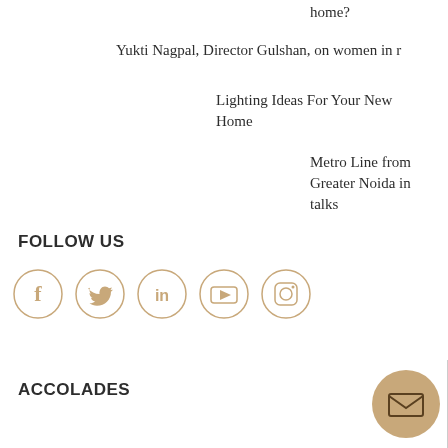home?
Yukti Nagpal, Director Gulshan, on women in r
Lighting Ideas For Your New Home
Metro Line from Greater Noida in talks
FOLLOW US
[Figure (infographic): Social media icons in circles: Facebook, Twitter, LinkedIn, YouTube, Instagram]
ACCOLADES
[Figure (infographic): Email/envelope button circle in golden-brown color at bottom right]